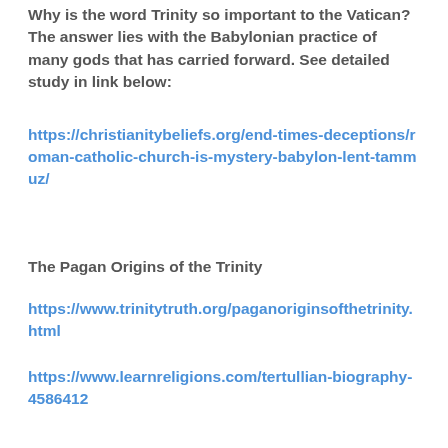Why is the word Trinity so important to the Vatican? The answer lies with the Babylonian practice of many gods that has carried forward. See detailed study in link below:
https://christianitybeliefs.org/end-times-deceptions/roman-catholic-church-is-mystery-babylon-lent-tammuz/
The Pagan Origins of the Trinity
https://www.trinitytruth.org/paganoriginsofthetrinity.html
https://www.learnreligions.com/tertullian-biography-4586412